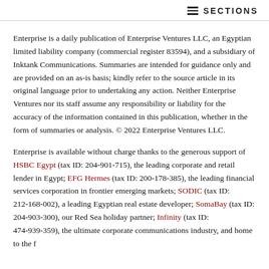SECTIONS
Enterprise is a daily publication of Enterprise Ventures LLC, an Egyptian limited liability company (commercial register 83594), and a subsidiary of Inktank Communications. Summaries are intended for guidance only and are provided on an as-is basis; kindly refer to the source article in its original language prior to undertaking any action. Neither Enterprise Ventures nor its staff assume any responsibility or liability for the accuracy of the information contained in this publication, whether in the form of summaries or analysis. © 2022 Enterprise Ventures LLC.
Enterprise is available without charge thanks to the generous support of HSBC Egypt (tax ID: 204-901-715), the leading corporate and retail lender in Egypt; EFG Hermes (tax ID: 200-178-385), the leading financial services corporation in frontier emerging markets; SODIC (tax ID: 212-168-002), a leading Egyptian real estate developer; SomaBay (tax ID: 204-903-300), our Red Sea holiday partner; Infinity (tax ID: 474-939-359), the ultimate corporate communications industry, and home to some of the f